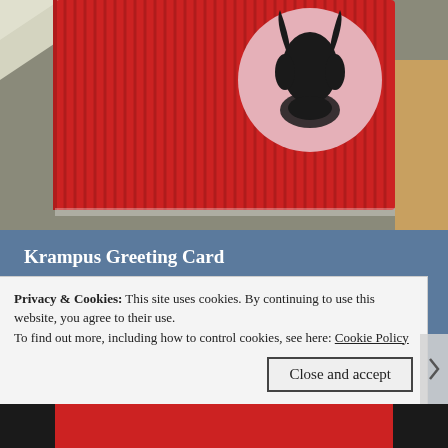[Figure (photo): Photo of a Krampus greeting card — red ridged surface with a circular badge showing a dark Krampus silhouette on a pink background]
Krampus Greeting Card
Greeting Card celebrating Krampusnacht, or to spread some "Bah Humbug" during the holiday season.
Privacy & Cookies: This site uses cookies. By continuing to use this website, you agree to their use.
To find out more, including how to control cookies, see here: Cookie Policy
Close and accept